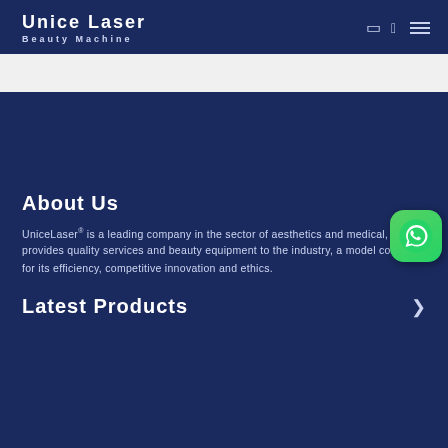Unice Laser | Beauty Machine
About Us
UniceLaser® is a leading company in the sector of aesthetics and medical, which provides quality services and beauty equipment to the industry, a model company for its efficiency, competitive innovation and ethics.
Latest Products
[Figure (logo): WhatsApp contact button with green background and phone icon]